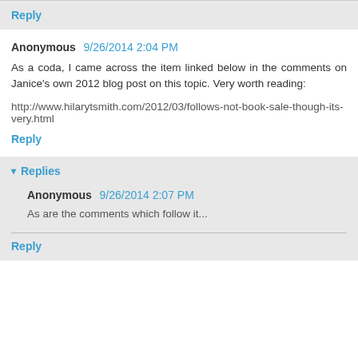Reply
Anonymous 9/26/2014 2:04 PM
As a coda, I came across the item linked below in the comments on Janice's own 2012 blog post on this topic. Very worth reading:
http://www.hilarytsmith.com/2012/03/follows-not-book-sale-though-its-very.html
Reply
Replies
Anonymous 9/26/2014 2:07 PM
As are the comments which follow it...
Reply